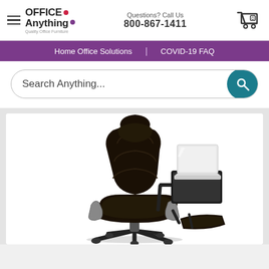Office Anything - Quality Office Furniture | Questions? Call Us 800-867-1411
Home Office Solutions | COVID-19 FAQ
Search Anything...
[Figure (photo): An ergonomic black leather recliner office chair with an attached laptop stand/arm holding an open white laptop, and a footrest ottoman. The chair is photographed on a white background.]